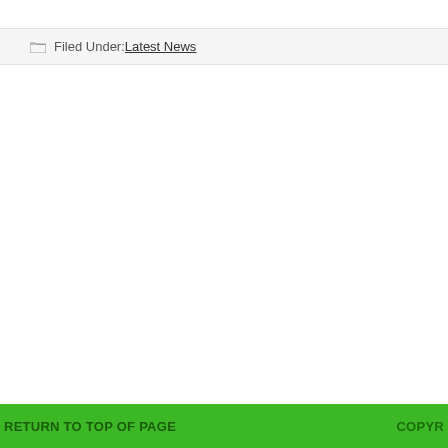Filed Under: Latest News
RETURN TO TOP OF PAGE   COPYR